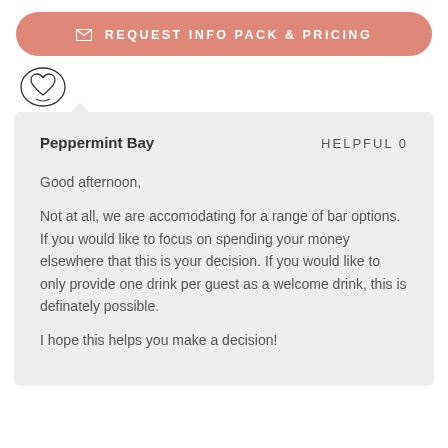REQUEST INFO PACK & PRICING
[Figure (logo): Circular heart/script logo icon]
Peppermint Bay    HELPFUL 0
Good afternoon,
Not at all, we are accomodating for a range of bar options. If you would like to focus on spending your money elsewhere that this is your decision. If you would like to only provide one drink per guest as a welcome drink, this is definately possible.
I hope this helps you make a decision!